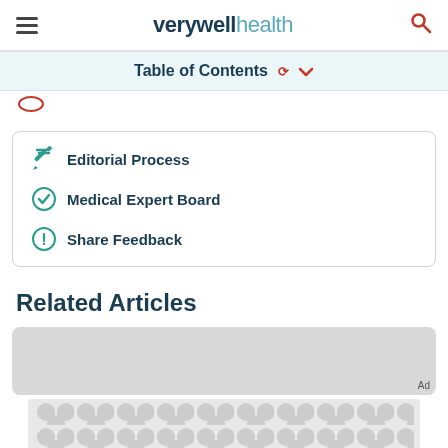verywell health
Table of Contents
Editorial Process
Medical Expert Board
Share Feedback
Related Articles
[Figure (other): Advertisement placeholder image with grey background and circular pattern overlay]